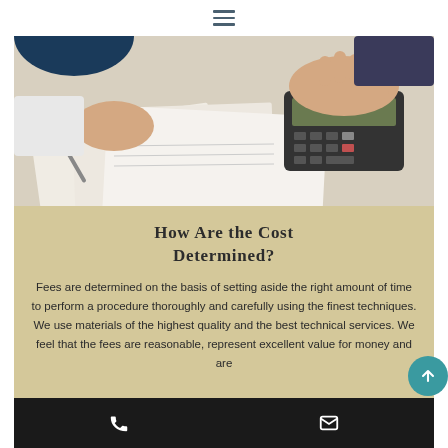☰
[Figure (photo): Two people working at a desk with a calculator, pen, and financial documents/papers spread out]
How Are the Cost Determined?
Fees are determined on the basis of setting aside the right amount of time to perform a procedure thoroughly and carefully using the finest techniques. We use materials of the highest quality and the best technical services. We feel that the fees are reasonable, represent excellent value for money and are
📞  ✉